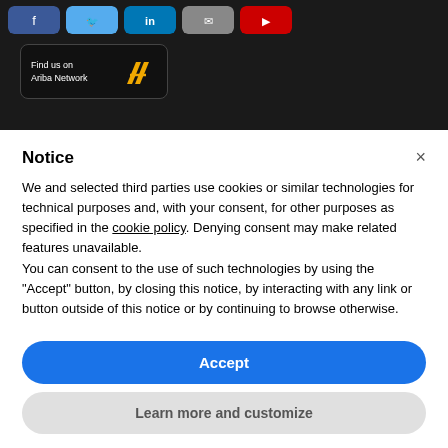[Figure (screenshot): Dark banner with social media icon buttons (Facebook, Twitter, LinkedIn, Email/grey, YouTube/red) and an Ariba Network badge with logo]
Notice
We and selected third parties use cookies or similar technologies for technical purposes and, with your consent, for other purposes as specified in the cookie policy. Denying consent may make related features unavailable.
You can consent to the use of such technologies by using the "Accept" button, by closing this notice, by interacting with any link or button outside of this notice or by continuing to browse otherwise.
Accept
Learn more and customize